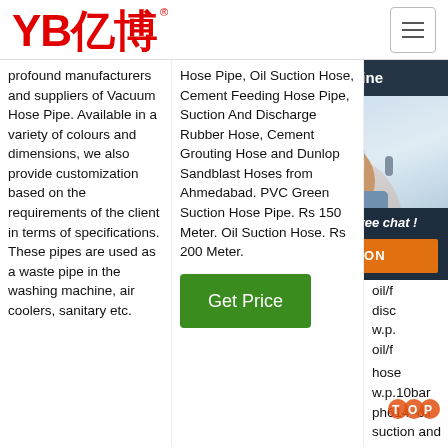[Figure (logo): YB亿博 logo in red with registered trademark symbol]
profound manufacturers and suppliers of Vacuum Hose Pipe. Available in a variety of colours and dimensions, we also provide customization based on the requirements of the client in terms of specifications. These pipes are used as a waste pipe in the washing machine, air coolers, sanitary etc.
Hose Pipe, Oil Suction Hose, Cement Feeding Hose Pipe, Suction And Discharge Rubber Hose, Cement Grouting Hose and Dunlop Sandblast Hoses from Ahmedabad. PVC Green Suction Hose Pipe. Rs 150 Meter. Oil Suction Hose. Rs 200 Meter.
steel mill water suction hose glass thermoplastic pair 10b disc w.p. oil/f disc w.p. oil/f hose w.p.10bar ph614–oil suction and discharge hose w.p.20bar ph615–oil s and d hose–40bar
[Figure (infographic): 24/7 Online chat widget with customer service photo, 'Click here for free chat!' text and QUOTATION button]
Get Price